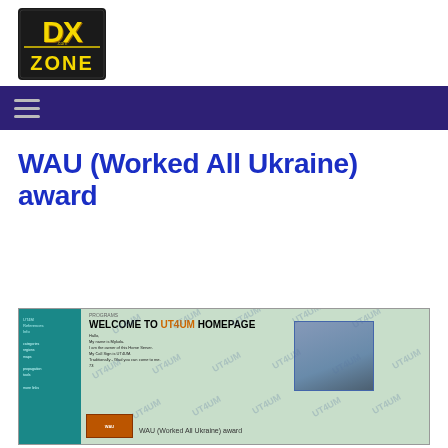[Figure (logo): DX Zone logo — yellow bold text 'DX ZONE' on a dark distressed background with decorative styling]
Navigation bar with hamburger menu icon
WAU (Worked All Ukraine) award
[Figure (screenshot): Screenshot of UT4UM homepage showing a welcome page with teal sidebar, green background, photo of a person, watermark text 'UT4UM' repeated diagonally, and text 'WAU (Worked All Ukraine) award' at the bottom]